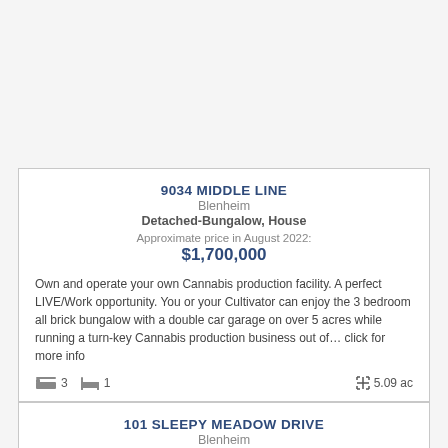9034 MIDDLE LINE
Blenheim
Detached-Bungalow, House
Approximate price in August 2022:
$1,700,000
Own and operate your own Cannabis production facility. A perfect LIVE/Work opportunity. You or your Cultivator can enjoy the 3 bedroom all brick bungalow with a double car garage on over 5 acres while running a turn-key Cannabis production business out of… click for more info
3  1  5.09 ac
101 SLEEPY MEADOW DRIVE
Blenheim
Bungalow, House